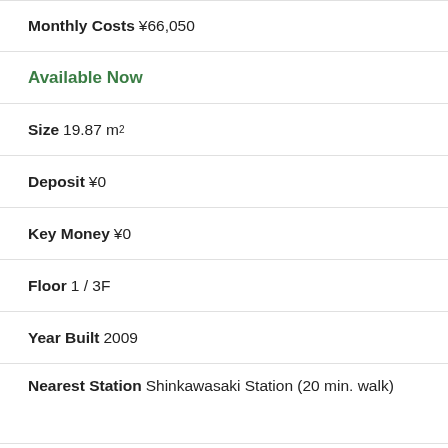Monthly Costs ¥66,050
Available Now
Size 19.87 m²
Deposit ¥0
Key Money ¥0
Floor 1 / 3F
Year Built 2009
Nearest Station Shinkawasaki Station (20 min. walk)
↓ Shortlist